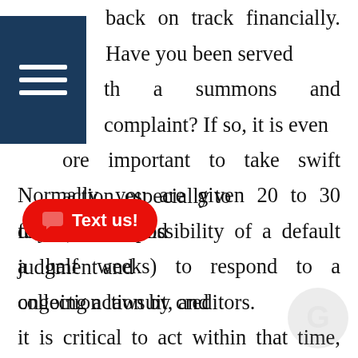[Figure (other): Dark blue hamburger menu icon with three white horizontal lines]
back on track financially. Have you been served with a summons and complaint? If so, it is even more important to take swift action, especially to fend off the possibility of a default judgment and ongoing action by creditors.
Normally, you are given 20 to 30 days (about 4 and a half weeks) to respond to a collection lawsuit, and it is critical to act within that time, along with discussing your plans with a legal expert, whether you want to fight the legal action or would like to negotiate with the creditor. Without any attention to the matter and a default judgment granted
[Figure (other): Red rounded button with chat icon and Text us! label]